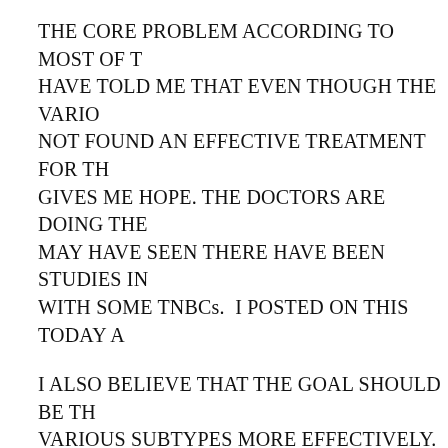THE CORE PROBLEM ACCORDING TO MOST OF T HAVE TOLD ME THAT EVEN THOUGH THE VARIO NOT FOUND AN EFFECTIVE TREATMENT FOR TH GIVES ME HOPE. THE DOCTORS ARE DOING THE MAY HAVE SEEN THERE HAVE BEEN STUDIES IN WITH SOME TNBCs. I POSTED ON THIS TODAY A
I ALSO BELIEVE THAT THE GOAL SHOULD BE TH VARIOUS SUBTYPES MORE EFFECTIVELY. FRUS DOES INFLAMMATORY BREAST CANCER. HARD SO RARE. THE TNBC FOUNDATION HAS BEEN TH
Chemo is standard protocol because they have nothing e the answer is always it's protocol.
MANY ONCOLOGISTS ARE BOUND BY THEIR INS